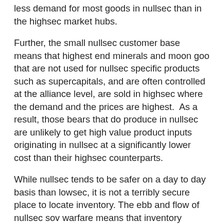less demand for most goods in nullsec than in the highsec market hubs.
Further, the small nullsec customer base means that highest end minerals and moon goo that are not used for nullsec specific products such as supercapitals, and are often controlled at the alliance level, are sold in highsec where the demand and the prices are highest.  As a result, those bears that do produce in nullsec are unlikely to get high value product inputs originating in nullsec at a significantly lower cost than their highsec counterparts.
While nullsec tends to be safer on a day to day basis than lowsec, it is not a terribly secure place to locate inventory. The ebb and flow of nullsec sov warfare means that inventory maintained in player owned outposts are subject to loss if the owner's alliance loses control of the outpost.  I've written elsewhere that careful advance planning is required in order to minimize the impact of sovereign space loss on player assets.  This is a non-trivial exercise when dealing with the usual player's collection of ships and fittings. Moving and securing a high-volume market inventory that